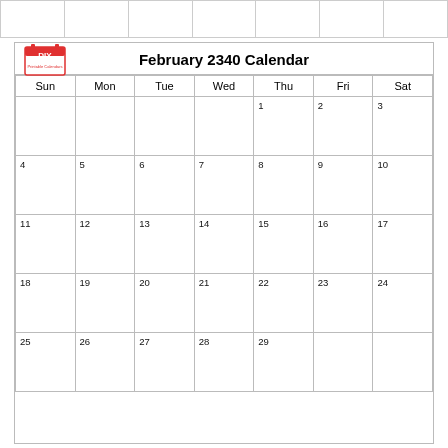|  |  |  |  |  |  |  |
February 2340 Calendar
| Sun | Mon | Tue | Wed | Thu | Fri | Sat |
| --- | --- | --- | --- | --- | --- | --- |
|  |  |  |  | 1 | 2 | 3 |
| 4 | 5 | 6 | 7 | 8 | 9 | 10 |
| 11 | 12 | 13 | 14 | 15 | 16 | 17 |
| 18 | 19 | 20 | 21 | 22 | 23 | 24 |
| 25 | 26 | 27 | 28 | 29 |  |  |